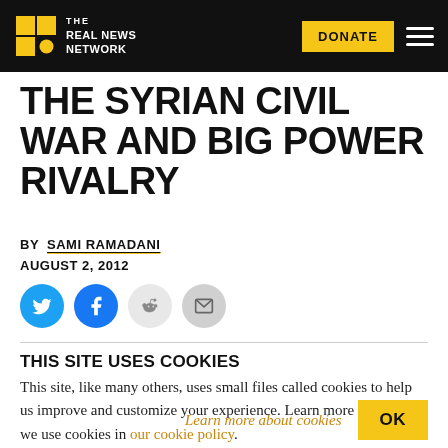The Real News Network — DONATE
THE SYRIAN CIVIL WAR AND BIG POWER RIVALRY
BY SAMI RAMADANI
AUGUST 2, 2012
[Figure (other): Social share icons: Twitter, Facebook, Reddit, Email]
THIS SITE USES COOKIES
This site, like many others, uses small files called cookies to help us improve and customize your experience. Learn more about how we use cookies in our cookie policy.
Learn more about cookies   OK